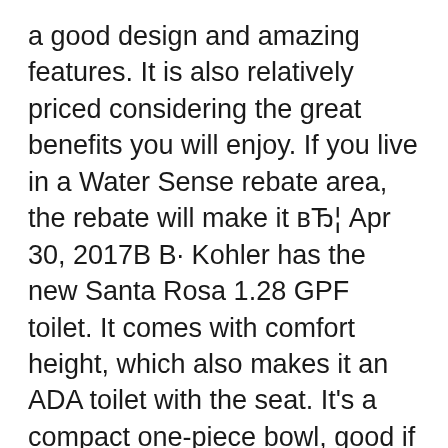a good design and amazing features. It is also relatively priced considering the great benefits you will enjoy. If you live in a Water Sense rebate area, the rebate will make it вЂ¦ Apr 30, 2017В В· Kohler has the new Santa Rosa 1.28 GPF toilet. It comes with comfort height, which also makes it an ADA toilet with the seat. It's a compact one-piece bowl, good if you have a small space and want an elongated bowl. Install was good out of the box. I installed this at Sue's place, and it seems to be working well. It has Kohler's Class 5 flushing.
Oct 27, 2018В В· review the kohler santa rosa comfort height compact from kohler santa rosa toilet reviews kohler